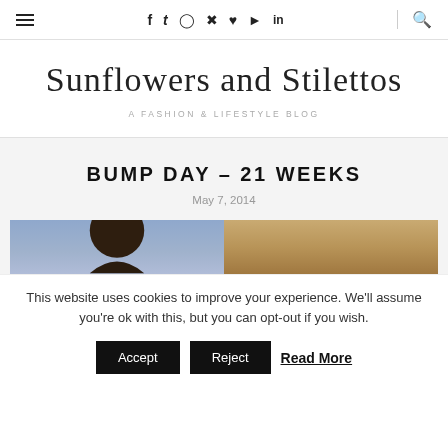≡ f t ○ ℗ ♥ ▶ in 🔍
Sunflowers and Stilettos
A FASHION & LIFESTYLE BLOG
BUMP DAY – 21 WEEKS
May 7, 2014
[Figure (photo): Two-panel image: left panel shows a person with dark hair against a purple/blue background; right panel shows a tan/gold background]
This website uses cookies to improve your experience. We'll assume you're ok with this, but you can opt-out if you wish.
Accept   Reject   Read More